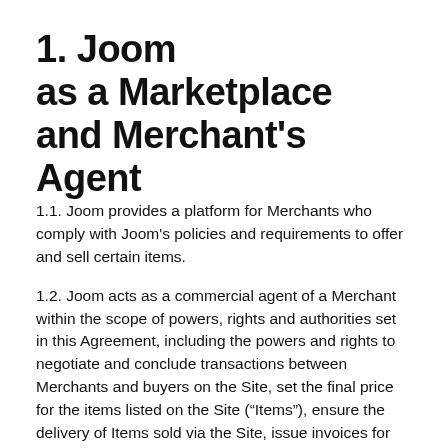1. Joom as a Marketplace and Merchant's Agent
1.1. Joom provides a platform for Merchants who comply with Joom's policies and requirements to offer and sell certain items.
1.2. Joom acts as a commercial agent of a Merchant within the scope of powers, rights and authorities set in this Agreement, including the powers and rights to negotiate and conclude transactions between Merchants and buyers on the Site, set the final price for the items listed on the Site (“Items”), ensure the delivery of Items sold via the Site, issue invoices for such Items, and (at Joom’s sole discretion) assist Merchants in the receipt and